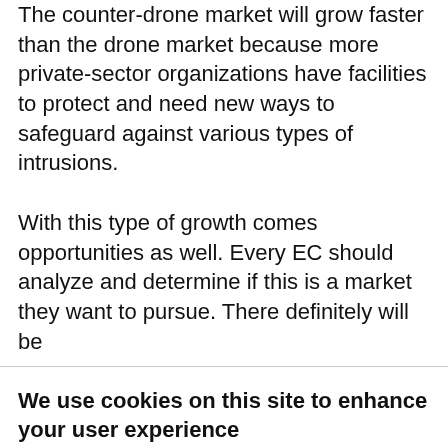The counter-drone market will grow faster than the drone market because more private-sector organizations have facilities to protect and need new ways to safeguard against various types of intrusions.
With this type of growth comes opportunities as well. Every EC should analyze and determine if this is a market they want to pursue. There definitely will be
We use cookies on this site to enhance your user experience
By clicking the Accept button, you agree to us doing so.